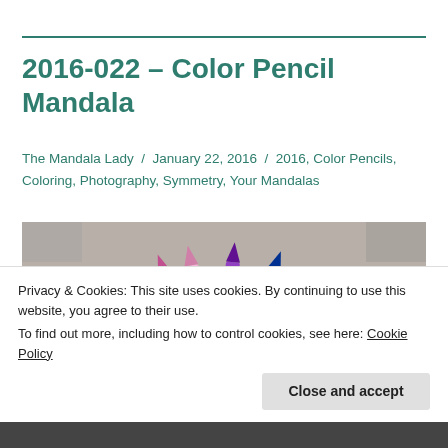2016-022 – Color Pencil Mandala
The Mandala Lady / January 22, 2016 / 2016, Color Pencils, Coloring, Photography, Symmetry, Your Mandalas
[Figure (photo): Colorful pencils arranged in a fan/radial pattern, shot close-up showing tips and pencil bodies in a rainbow of colors including red, orange, yellow, green, blue, purple, and pink.]
Privacy & Cookies: This site uses cookies. By continuing to use this website, you agree to their use.
To find out more, including how to control cookies, see here: Cookie Policy
Close and accept